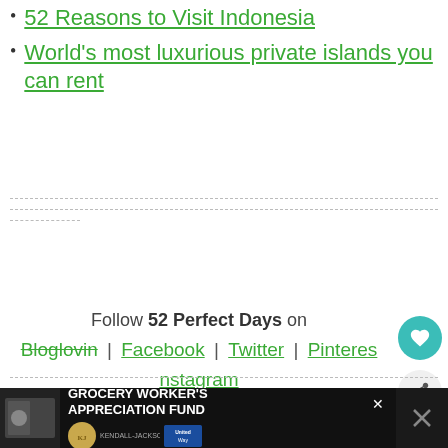52 Reasons to Visit Indonesia
World's most luxurious private islands you can rent
Follow 52 Perfect Days on Bloglovin | Facebook | Twitter | Pinterest | Instagram
[Figure (screenshot): What's Next panel with Fun & Weird Road Safety... article thumbnail]
[Figure (screenshot): Grocery Worker's Appreciation Fund advertisement banner with Kendall-Jackson and United Way logos]